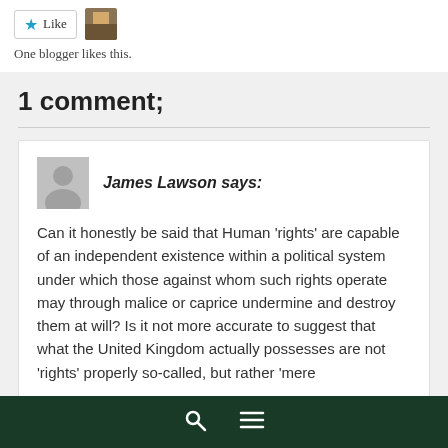[Figure (other): Like button with star icon and a small user avatar thumbnail]
One blogger likes this.
1 comment;
James Lawson says:
Can it honestly be said that Human 'rights' are capable of an independent existence within a political system under which those against whom such rights operate may through malice or caprice undermine and destroy them at will? Is it not more accurate to suggest that what the United Kingdom actually possesses are not 'rights' properly so-called, but rather 'mere